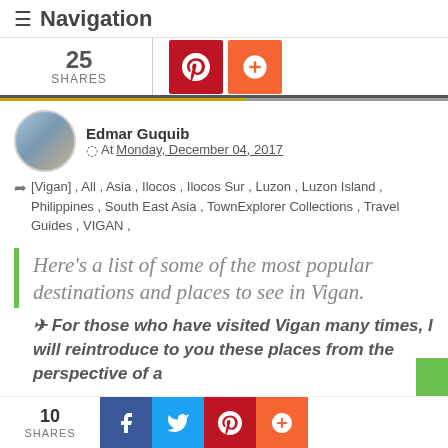≡ Navigation
SHARES
Edmar Guquib
At Monday, December 04, 2017
[Vigan] , All , Asia , Ilocos , Ilocos Sur , Luzon , Luzon Island , Philippines , South East Asia , TownExplorer Collections , Travel Guides , VIGAN ,
Here's a list of some of the most popular destinations and places to see in Vigan.
✈ For those who have visited Vigan many times, I will reintroduce to you these places from the perspective of a
10 SHARES